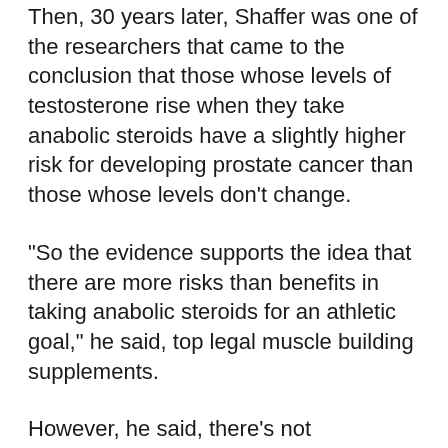Then, 30 years later, Shaffer was one of the researchers that came to the conclusion that those whose levels of testosterone rise when they take anabolic steroids have a slightly higher risk for developing prostate cancer than those whose levels don't change.
"So the evidence supports the idea that there are more risks than benefits in taking anabolic steroids for an athletic goal," he said, top legal muscle building supplements.
However, he said, there's not necessarily a direct association between taking anabolic steroids and developing prostate cancer, anvarol before and after.
The authors of the study said that while they were not aware of any other study to find this association, it could be the first